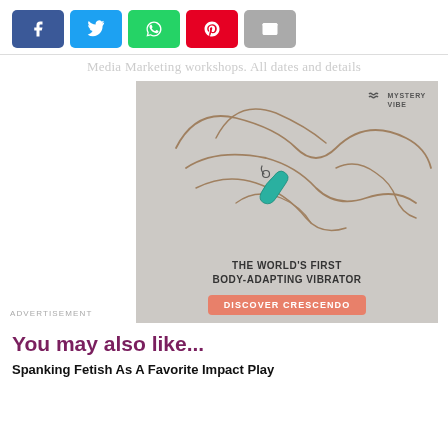[Figure (screenshot): Social share buttons: Facebook (blue), Twitter (light blue), WhatsApp (green), Pinterest (red), Email (gray)]
Media Marketing workshops. All dates and details
[Figure (illustration): MysteryVibe advertisement: line illustration of a couple, with a teal vibrator device. Text: THE WORLD'S FIRST BODY-ADAPTING VIBRATOR. Button: DISCOVER CRESCENDO. Logo: M MYSTERY VIBE.]
ADVERTISEMENT
You may also like...
Spanking Fetish As A Favorite Impact Play